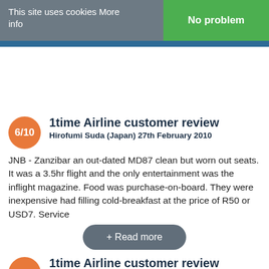This site uses cookies More info | No problem
JNB - Zanzibar an out-dated MD87 clean but worn out seats. It was a 3.5hr flight and the only entertainment was the inflight magazine. Food was purchase-on-board. They were inexpensive had filling cold-breakfast at the price of R50 or USD7. Service
1time Airline customer review
Hirofumi Suda (Japan) 27th February 2010
1time Airline customer review
Christer Bergbrad (Norway) 18th January 2010